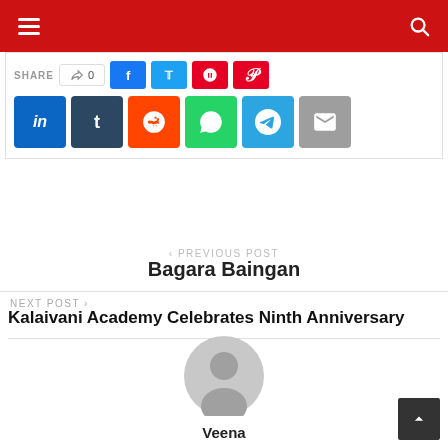Navigation header with hamburger menu and search icon
[Figure (screenshot): Social share buttons row 1: SHARE label, count button showing 0, Facebook (blue), Twitter (light blue), Pinterest (red), Pinterest (red). Row 2: LinkedIn (blue), Tumblr (dark blue), Reddit (orange), WhatsApp (green), Telegram (light blue), Email (grey)]
< PREVIOUS POST
Bagara Baingan
NEXT POST >
Kalaivani Academy Celebrates Ninth Anniversary
[Figure (illustration): Default user avatar - grey circular person silhouette icon]
Veena